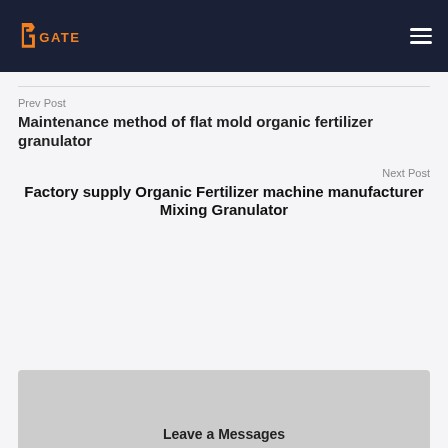carried out normally
[Figure (logo): GATE logo in orange and white on dark navy background with hamburger menu icon]
Prev Post
Maintenance method of flat mold organic fertilizer granulator
Next Post
Factory supply Organic Fertilizer machine manufacturer Mixing Granulator
Leave a Messages